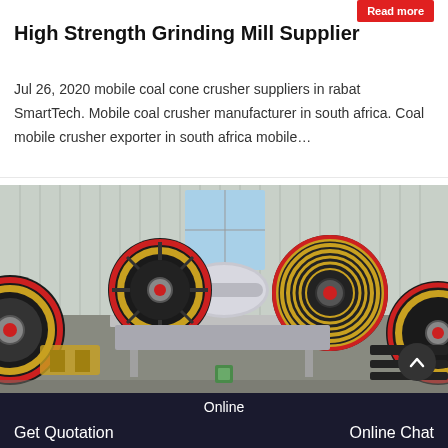High Strength Grinding Mill Supplier
Jul 26, 2020 mobile coal cone crusher suppliers in rabat SmartTech. Mobile coal crusher manufacturer in south africa. Coal mobile crusher exporter in south africa mobile…
[Figure (photo): Industrial grinding mill machinery with large flywheel pulleys with red and black coloring, set in a factory/warehouse environment. Multiple crusher machines visible.]
Get Quotation   Online   Online Chat